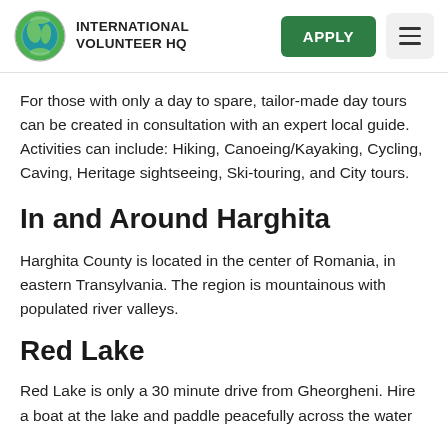INTERNATIONAL VOLUNTEER HQ | APPLY
For those with only a day to spare, tailor-made day tours can be created in consultation with an expert local guide. Activities can include: Hiking, Canoeing/Kayaking, Cycling, Caving, Heritage sightseeing, Ski-touring, and City tours.
In and Around Harghita
Harghita County is located in the center of Romania, in eastern Transylvania. The region is mountainous with populated river valleys.
Red Lake
Red Lake is only a 30 minute drive from Gheorgheni. Hire a boat at the lake and paddle peacefully across the water